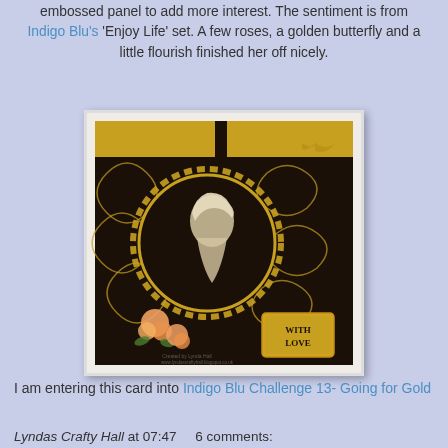embossed panel to add more interest. The sentiment is from Indigo Blu's 'Enjoy Life' set. A few roses, a golden butterfly and a little flourish finished her off nicely.
[Figure (photo): A decorative handmade card featuring a black background with gold floral/swirl patterns, a circular cameo portrait of a woman in profile with ornate gold frame, peach roses at the bottom left, a golden butterfly at the top right, and a 'WITH LOVE' sentiment tag in gold at the bottom right. Watermark reads 'Created by Lynda Hall' and website URL.]
I am entering this card into Indigo Blu Challenge 13- Going for Gold
Lyndas Crafty Hall at 07:47    6 comments: